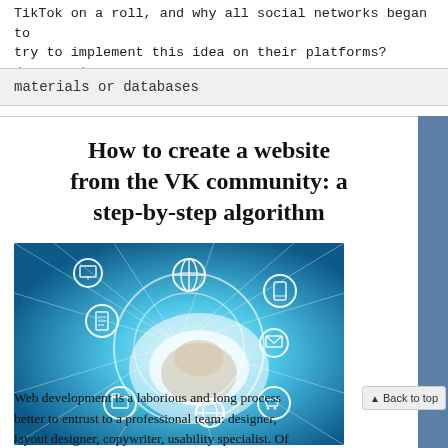TikTok on a roll, and why all social networks began to try to implement this idea on their platforms? (more...)
materials or databases
How to create a website from the VK community: a step-by-step algorithm
[Figure (photo): Hand touching a glowing digital tablet with white circular icons representing technology and connectivity on a blue background]
Web development is a laborious and long process better to entrust to a professional team: designer, layout designer, copywriter, usability specialist. Of